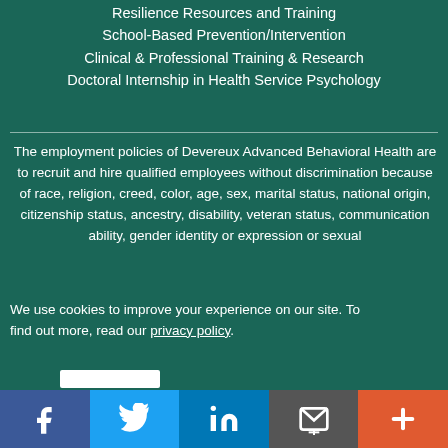Resilience Resources and Training
School-Based Prevention/Intervention
Clinical & Professional Training & Research
Doctoral Internship in Health Service Psychology
The employment policies of Devereux Advanced Behavioral Health are to recruit and hire qualified employees without discrimination because of race, religion, creed, color, age, sex, marital status, national origin, citizenship status, ancestry, disability, veteran status, communication ability, gender identity or expression or sexual
We use cookies to improve your experience on our site. To find out more, read our privacy policy.
[Figure (infographic): Social media sharing bar with Facebook, Twitter, LinkedIn, email/envelope, and more (+) buttons]